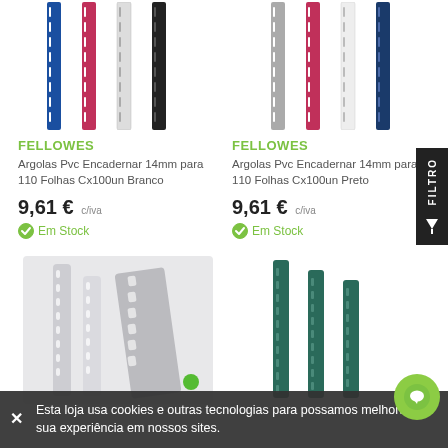[Figure (photo): Binding rings/spines in blue, pink, white, black colors - product image top left]
[Figure (photo): Binding rings/spines in grey, pink, white, black colors - product image top right]
FELLOWES
Argolas Pvc Encadernar 14mm para 110 Folhas Cx100un Branco
9,61 € c/iva
Em Stock
FELLOWES
Argolas Pvc Encadernar 14mm para 110 Folhas Cx100un Preto
9,61 € c/iva
Em Stock
[Figure (photo): Transparent/white plastic binding spines - bottom left product photo]
[Figure (photo): Dark teal/green plastic binding spines - bottom right product photo]
Esta loja usa cookies e outras tecnologias para possamos melhorar sua experiência em nossos sites.